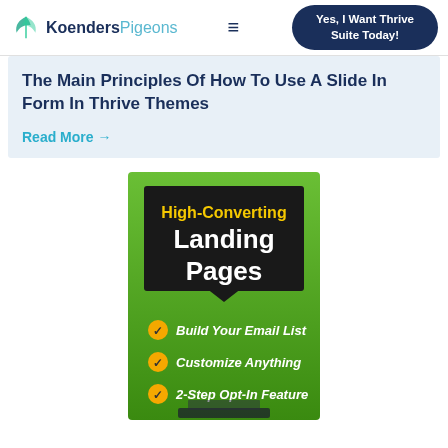KoendersPigeons — Yes, I Want Thrive Suite Today!
The Main Principles Of How To Use A Slide In Form In Thrive Themes
Read More →
[Figure (illustration): High-Converting Landing Pages promotional banner with green gradient background. Lists: Build Your Email List, Customize Anything, 2-Step Opt-In Feature. Shows a laptop at the bottom.]